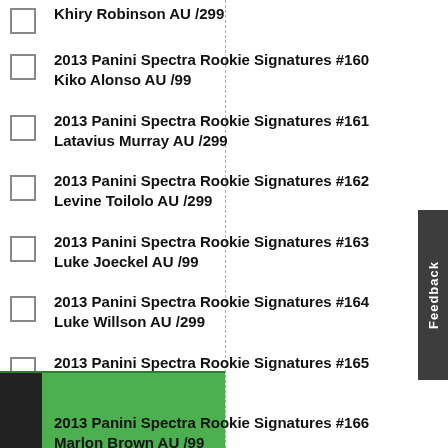2013 Panini Spectra Rookie Signatures #159 Khiry Robinson AU /299
2013 Panini Spectra Rookie Signatures #160 Kiko Alonso AU /99
2013 Panini Spectra Rookie Signatures #161 Latavius Murray AU /299
2013 Panini Spectra Rookie Signatures #162 Levine Toilolo AU /299
2013 Panini Spectra Rookie Signatures #163 Luke Joeckel AU /99
2013 Panini Spectra Rookie Signatures #164 Luke Willson AU /299
2013 Panini Spectra Rookie Signatures #165 Margus Hunt AU /99
2013 Panini Spectra Rookie Signatures #166 Marlon Brown AU /99
2013 Panini Spectra Rookie Signatures #168